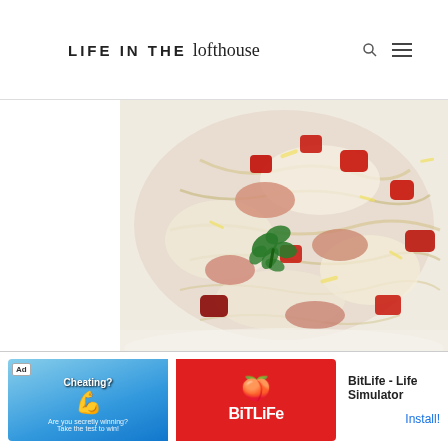LIFE IN THE lofthouse
[Figure (photo): Close-up photo of a salad dish in a white bowl containing sauerkraut, diced red tomatoes, kidney beans, shredded cheese, ham/bacon pieces, and garnished with fresh green parsley.]
[Figure (photo): Advertisement banner for BitLife - Life Simulator app showing 'Cheating?' text on blue background with muscle emoji and BitLife logo on red background.]
BitLife - Life Simulator
Install!